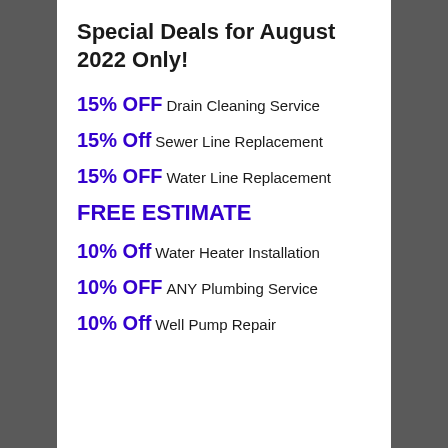Special Deals for August 2022 Only!
15% OFF Drain Cleaning Service
15% Off Sewer Line Replacement
15% OFF Water Line Replacement
FREE ESTIMATE
10% Off Water Heater Installation
10% OFF ANY Plumbing Service
10% Off Well Pump Repair